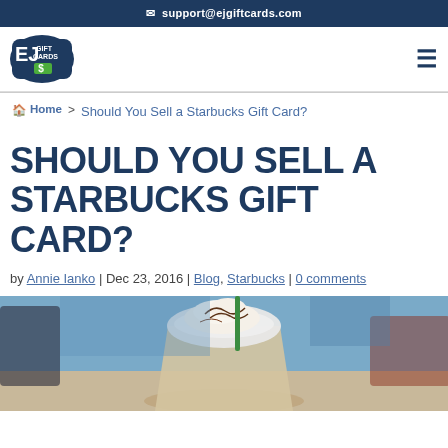✉ support@ejgiftcards.com
[Figure (logo): EJ Gift Cards logo with stylized text and green dollar sign icon]
Home > Should You Sell a Starbucks Gift Card?
SHOULD YOU SELL A STARBUCKS GIFT CARD?
by Annie Ianko | Dec 23, 2016 | Blog, Starbucks | 0 comments
[Figure (photo): Close-up photo of a Starbucks blended drink with whipped cream and chocolate drizzle, green straw, blurred background]